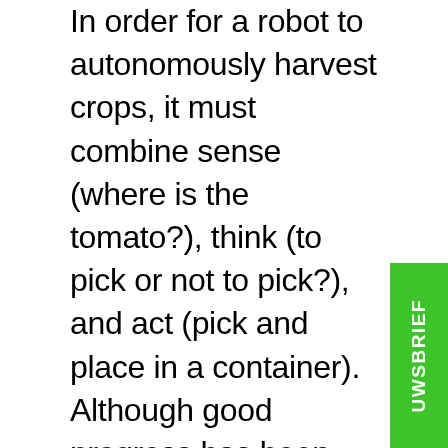In order for a robot to autonomously harvest crops, it must combine sense (where is the tomato?), think (to pick or not to pick?), and act (pick and place in a container). Although good progress has been made in the development of harvesting robots in general, they are still not widely used in our greenhouses. Delicate crops, such as tomatoes, peppers and strawberries, are particularly problematic. By bringing together international growers and technology companies and challenging students to develop solutions, RoboCrops hopes to see a global acceleration in motion.